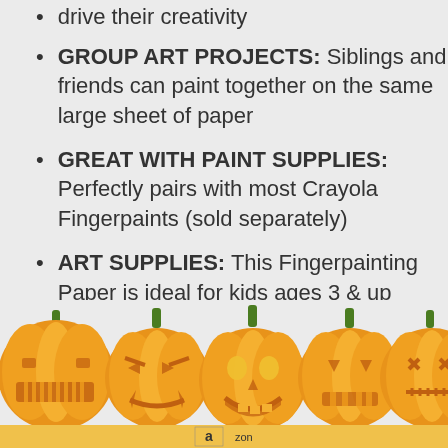drive their creativity
GROUP ART PROJECTS: Siblings and friends can paint together on the same large sheet of paper
GREAT WITH PAINT SUPPLIES: Perfectly pairs with most Crayola Fingerpaints (sold separately)
ART SUPPLIES: This Fingerpainting Paper is ideal for kids ages 3 & up
[Figure (illustration): Row of five orange jack-o-lantern pumpkins with green stems and various carved faces, Halloween themed, with an Amazon product page bar at the bottom showing the Amazon logo and partial URL text.]